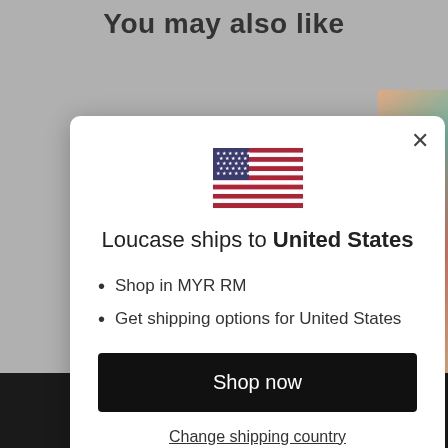You may also like
[Figure (screenshot): Modal dialog showing US flag, shipping message, bullet points, Shop now button, and Change shipping country link]
Loucase ships to United States
Shop in MYR RM
Get shipping options for United States
Shop now
Change shipping country